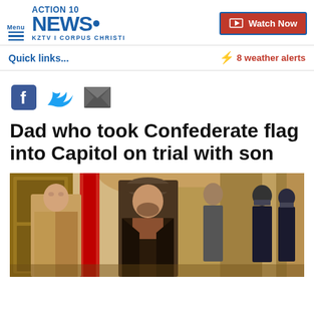ACTION 10 NEWS KZTV | CORPUS CHRISTI — Watch Now
Quick links...
⚡ 8 weather alerts
[Figure (other): Social sharing icons: Facebook, Twitter, Email]
Dad who took Confederate flag into Capitol on trial with son
[Figure (photo): Two men inside the US Capitol hallway, one carrying a Confederate flag (red visible), police in riot gear in background. Man on right wearing brown cap and leather jacket, man on left in tan work jacket.]